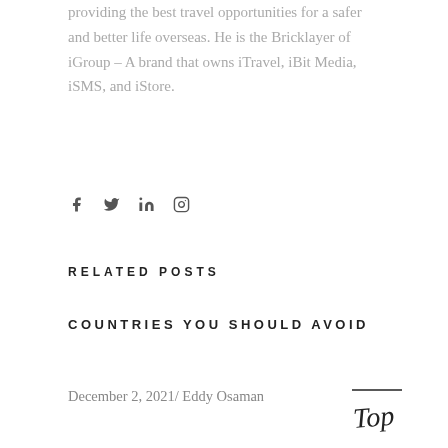providing the best travel opportunities for a safer and better life overseas. He is the Bricklayer of iGroup – A brand that owns iTravel, iBit Media, iSMS, and iStore.
[Figure (infographic): Social media icons: Facebook, Twitter, LinkedIn, Instagram]
RELATED POSTS
COUNTRIES YOU SHOULD AVOID
December 2, 2021/ Eddy Osaman
[Figure (illustration): Handwritten script logo reading 'Top' with a horizontal line above it]